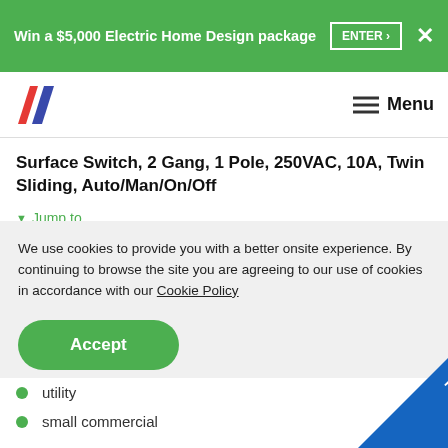Win a $5,000 Electric Home Design package  ENTER ›  ✕
[Figure (logo): Brand logo with red and blue diagonal parallelogram shapes]
≡ Menu
Surface Switch, 2 Gang, 1 Pole, 250VAC, 10A, Twin Sliding, Auto/Man/On/Off
▼ Jump to...
We use cookies to provide you with a better onsite experience. By continuing to browse the site you are agreeing to our use of cookies in accordance with our Cookie Policy
Accept
utility
small commercial